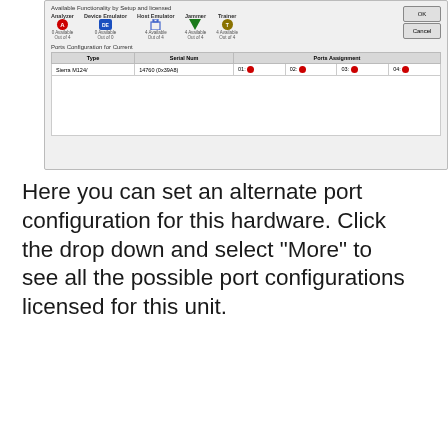[Figure (screenshot): Software dialog showing 'Available Functionality by Setup and licensed' with icons for Analyzer (0 Available, Out of 4), Device Emulator (0 Available, Out of 0), Host Emulator (4 Available, Out of 4), Jammer (4 Available, Out of 4), Trainer (4 Available, Out of 4), and OK/Cancel buttons. Below is 'Ports Configuration for Current' table with columns Type, Serial Num, Ports Assignment showing Sierra M124/ 14760 (0x39A8) with port indicators 01-04.]
Here you can set an alternate port configuration for this hardware. Click the drop down and select “More” to see all the possible port configurations licensed for this unit.
[Figure (screenshot): Select Port Configuration dialog with All tab, Configurations Filter checkboxes for Analyzer, Emulator, Jammer, Trainer. Shows 'All valid port configurations SN: 14760 (0x39A8)' table with columns Port 01, Port 02, Port 03, Port 04 and rows showing various red dot and green triangle icon combinations.]